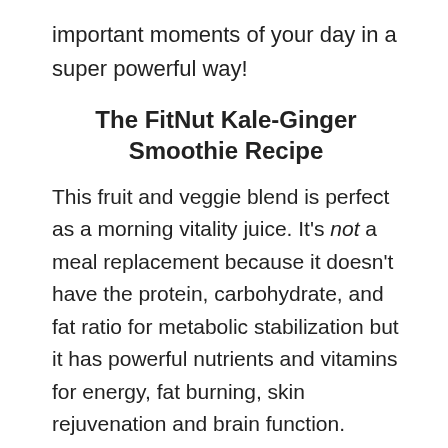important moments of your day in a super powerful way!
The FitNut Kale-Ginger Smoothie Recipe
This fruit and veggie blend is perfect as a morning vitality juice. It's not a meal replacement because it doesn't have the protein, carbohydrate, and fat ratio for metabolic stabilization but it has powerful nutrients and vitamins for energy, fat burning, skin rejuvenation and brain function.
Smoothie Ingredients:
16 oz of cold, not iced, green tea or water to cut the caffeine.